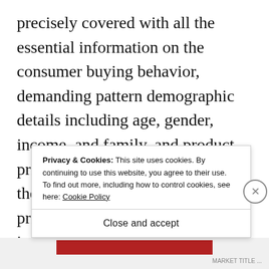precisely covered with all the essential information on the consumer buying behavior, demanding pattern demographic details including age, gender, income, and family, and product pricing. The report also highlights the consumers' reaction on the pricing fluctuations with the innovations in the latest products. In terms of competitors, the Niclosamide market offers complete list of players that are constantly engaged in growth strategies like t...
Privacy & Cookies: This site uses cookies. By continuing to use this website, you agree to their use. To find out more, including how to control cookies, see here: Cookie Policy
Close and accept